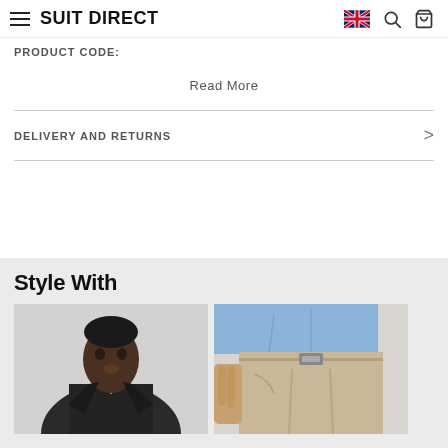SUIT DIRECT
PRODUCT CODE:
Read More
DELIVERY AND RETURNS
Style With
[Figure (photo): Man wearing a dark jacket against a light grey background]
[Figure (photo): Close-up of beige/khaki trousers with a light blue shirt tucked in, showing waistband and front pockets]